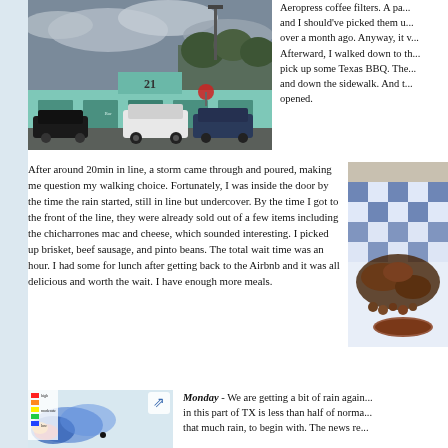[Figure (photo): Exterior photo of a light teal/mint colored building with the number 21 visible, cars parked outside, overcast sky]
Aeropress coffee filters. A pa... and I should've picked them u... over a month ago. Anyway, it v... Afterward, I walked down to th... pick up some Texas BBQ. The... and down the sidewalk. And t... opened.
After around 20min in line, a storm came through and poured, making me question my walking choice. Fortunately, I was inside the door by the time the rain started, still in line but undercover. By the time I got to the front of the line, they were already sold out of a few items including the chicharrones mac and cheese, which sounded interesting. I picked up brisket, beef sausage, and pinto beans. The total wait time was an hour. I had some for lunch after getting back to the Airbnb and it was all delicious and worth the wait. I have enough more meals.
[Figure (photo): Close-up photo of food (BBQ) in a blue and white checkered paper/container]
[Figure (map): Weather radar map showing rain in blue, red, and yellow colors over a region of Texas]
Monday - We are getting a bit of rain again... in this part of TX is less than half of norma... that much rain, to begin with. The news re...